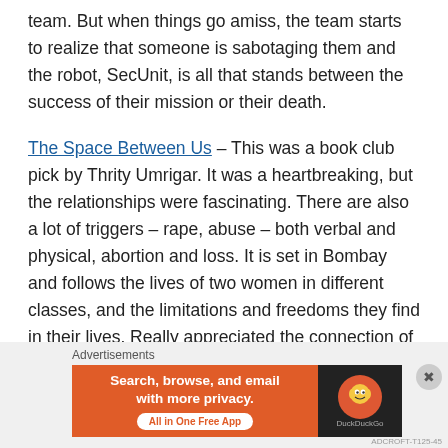team. But when things go amiss, the team starts to realize that someone is sabotaging them and the robot, SecUnit, is all that stands between the success of their mission or their death.
The Space Between Us – This was a book club pick by Thrity Umrigar. It was a heartbreaking, but the relationships were fascinating. There are also a lot of triggers – rape, abuse – both verbal and physical, abortion and loss. It is set in Bombay and follows the lives of two women in different classes, and the limitations and freedoms they find in their lives. Really appreciated the connection of mental health and pregnancy loss.
The Gilded Wolves – First in the series by Roshani Chokshi
Advertisements
[Figure (other): DuckDuckGo advertisement banner: orange background with text 'Search, browse, and email with more privacy. All in One Free App' and DuckDuckGo logo on dark background]